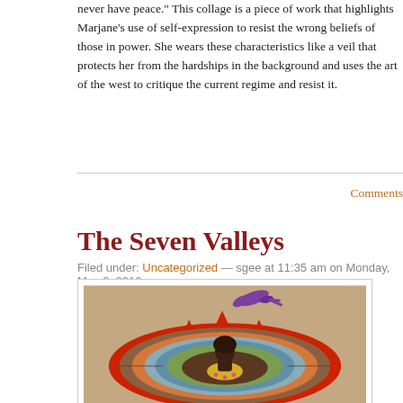never have peace." This collage is a piece of work that highlights Marjane's use of self-expression to resist the wrong beliefs of those in power. She wears these characteristics like a veil that protects her from the hardships in the background and uses the art of the west to critique the current regime and resist it.
Comments
The Seven Valleys
Filed under: Uncategorized — sgee at 11:35 am on Monday, May 2, 2016
[Figure (illustration): A colorful artwork showing nested concentric hearts with red flames on the outer edges, filled with blue, green, orange, and brown sections. A dark silhouetted figure with afro hair stands in the center of the inner heart, holding a small yellow heart. A purple bird flies in the upper area above the heart.]